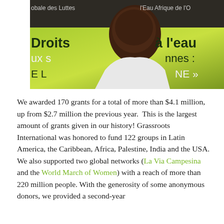[Figure (photo): A young person in a white shirt smiling, holding a yellow-green banner with French text including 'Droits', 'à l'eau', and partial text 'obale des Luttes', 'l'Eau Afrique de l'O', 'ux s', 'nnes :', 'E L', 'NE »']
We awarded 170 grants for a total of more than $4.1 million, up from $2.7 million the previous year.  This is the largest amount of grants given in our history! Grassroots International was honored to fund 122 groups in Latin America, the Caribbean, Africa, Palestine, India and the USA. We also supported two global networks (La Via Campesina and the World March of Women) with a reach of more than 220 million people. With the generosity of some anonymous donors, we provided a second-year